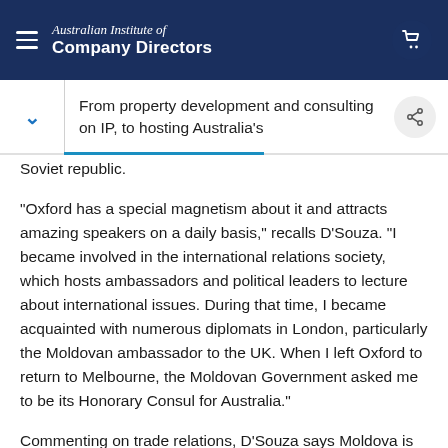Australian Institute of Company Directors
From property development and consulting on IP, to hosting Australia's
Soviet republic.

"Oxford has a special magnetism about it and attracts amazing speakers on a daily basis," recalls D'Souza. "I became involved in the international relations society, which hosts ambassadors and political leaders to lecture about international issues. During that time, I became acquainted with numerous diplomats in London, particularly the Moldovan ambassador to the UK. When I left Oxford to return to Melbourne, the Moldovan Government asked me to be its Honorary Consul for Australia."

Commenting on trade relations, D'Souza says Moldova is